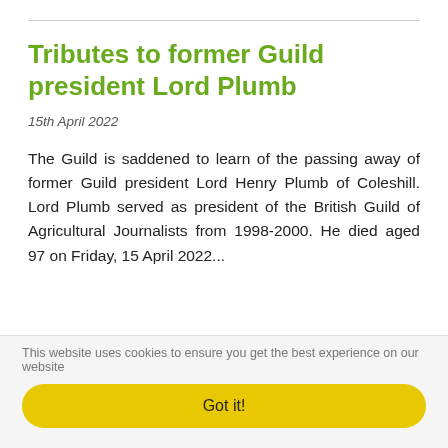Tributes to former Guild president Lord Plumb
15th April 2022
The Guild is saddened to learn of the passing away of former Guild president Lord Henry Plumb of Coleshill. Lord Plumb served as president of the British Guild of Agricultural Journalists from 1998-2000. He died aged 97 on Friday, 15 April 2022...
This website uses cookies to ensure you get the best experience on our website